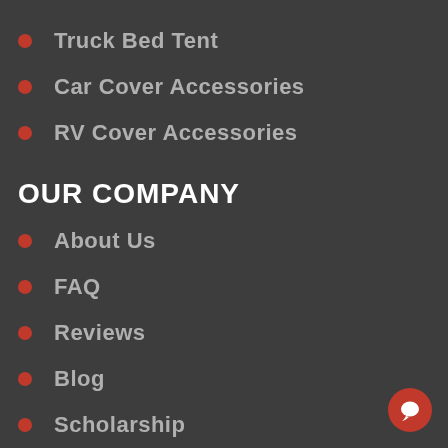Truck Bed Tent
Car Cover Accessories
RV Cover Accessories
OUR COMPANY
About Us
FAQ
Reviews
Blog
Scholarship